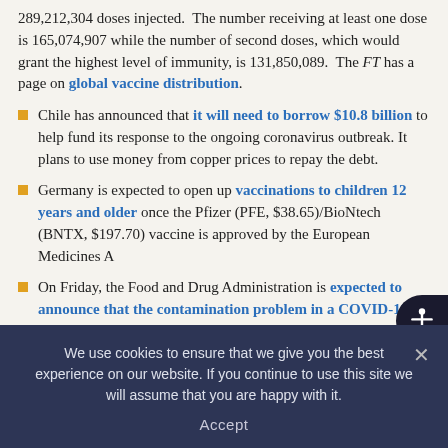289,212,304 doses injected. The number receiving at least one dose is 165,074,907 while the number of second doses, which would grant the highest level of immunity, is 131,850,089. The FT has a page on global vaccine distribution.
Chile has announced that it will need to borrow $10.8 billion to help fund its response to the ongoing coronavirus outbreak. It plans to use money from copper prices to repay the debt.
Germany is expected to open up vaccinations to children 12 years and older once the Pfizer (PFE, $38.65)/BioNtech (BNTX, $197.70) vaccine is approved by the European Medicines A...
On Friday, the Food and Drug Administration is expected to announce that the contamination problem in a COVID-19 vaccine plant has been resolved. The plant is expected to resume production of vaccines for Johnson & Johnson (JNJ, $168.81) and will now be cleared for use in both the U.S. and...
We use cookies to ensure that we give you the best experience on our website. If you continue to use this site we will assume that you are happy with it.